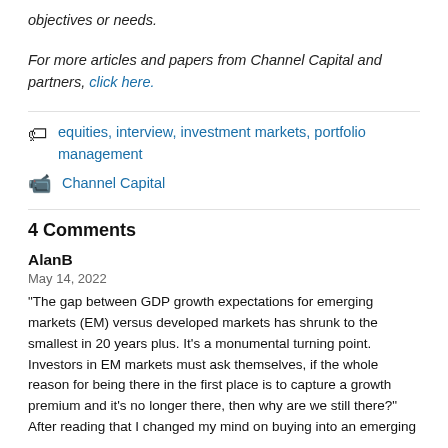objectives or needs.
For more articles and papers from Channel Capital and partners, click here.
equities, interview, investment markets, portfolio management
Channel Capital
4 Comments
AlanB
May 14, 2022
"The gap between GDP growth expectations for emerging markets (EM) versus developed markets has shrunk to the smallest in 20 years plus. It's a monumental turning point. Investors in EM markets must ask themselves, if the whole reason for being there in the first place is to capture a growth premium and it's no longer there, then why are we still there?" After reading that I changed my mind on buying into an emerging